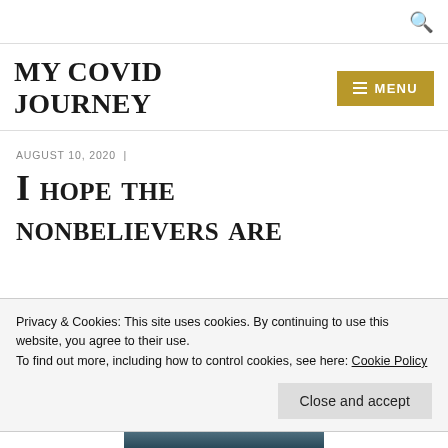MY COVID JOURNEY
MENU
AUGUST 10, 2020  |
I HOPE THE NONBELIEVERS ARE
Privacy & Cookies: This site uses cookies. By continuing to use this website, you agree to their use.
To find out more, including how to control cookies, see here: Cookie Policy
Close and accept